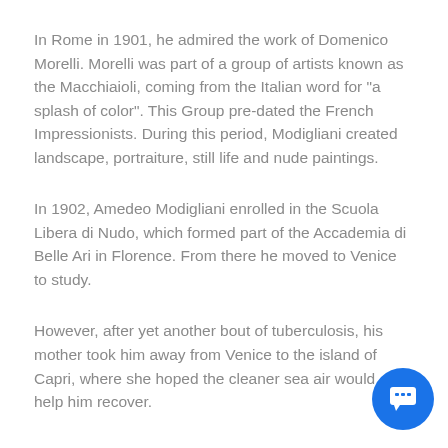In Rome in 1901, he admired the work of Domenico Morelli. Morelli was part of a group of artists known as the Macchiaioli, coming from the Italian word for "a splash of color". This Group pre-dated the French Impressionists. During this period, Modigliani created landscape, portraiture, still life and nude paintings.
In 1902, Amedeo Modigliani enrolled in the Scuola Libera di Nudo, which formed part of the Accademia di Belle Ari in Florence. From there he moved to Venice to study.
However, after yet another bout of tuberculosis, his mother took him away from Venice to the island of Capri, where she hoped the cleaner sea air would help him recover.
In 1906, Modigliani moved to Paris. Whilst his relatively affluent family background meant that he was able to afford to rent a studio in a more prosperous part of the city, he became a squatter in an artists' commune in Montmartre
Within a year, Modigliani became an alcoholic and drug
[Figure (other): Blue circular chat button with speech bubble icon in bottom right corner]